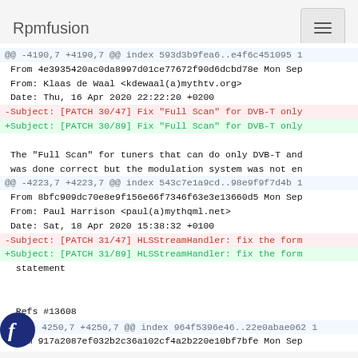Rpmfusion
@@ -4190,7 +4190,7 @@ index 593d3b9fea6..e4f6c451095 1
 From 4e3935420ac0da8997d01ce77672f90d6dcbd78e Mon Sep
 From: Klaas de Waal <kdewaal(a)mythtv.org&gt;
 Date: Thu, 16 Apr 2020 22:22:20 +0200
-Subject: [PATCH 30/47] Fix "Full Scan" for DVB-T only
+Subject: [PATCH 30/89] Fix "Full Scan" for DVB-T only

 The "Full Scan" for tuners that can do only DVB-T and
 was done correct but the modulation system was not en
@@ -4223,7 +4223,7 @@ index 543c7e1a9cd..98e9f9f7d4b 1
 From 8bfc909dc70e8e9f156e66f7346f63e3e13660d5 Mon Sep
 From: Paul Harrison <paul(a)mythqml.net&gt;
 Date: Sat, 18 Apr 2020 15:38:32 +0100
-Subject: [PATCH 31/47] HLSStreamHandler: fix the form
+Subject: [PATCH 31/89] HLSStreamHandler: fix the form
 statement

 Refs #13608
@@ -4250,7 +4250,7 @@ index 964f5396e46..22e0abae062 1
 From 917a2087ef032b2c36a102cf4a2b220e10bf7bfe Mon Sep